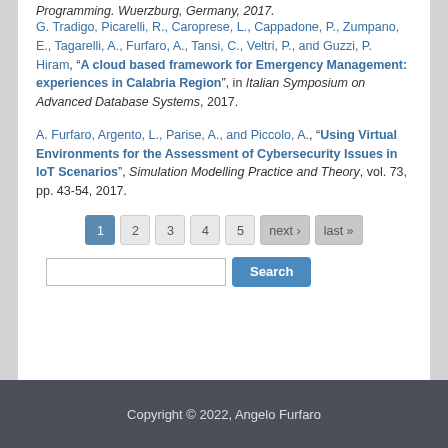Programming. Wuerzburg, Germany, 2017.
G. Tradigo, Picarelli, R., Caroprese, L., Cappadone, P., Zumpano, E., Tagarelli, A., Furfaro, A., Tansi, C., Veltri, P., and Guzzi, P. Hiram, “A cloud based framework for Emergency Management: experiences in Calabria Region”, in Italian Symposium on Advanced Database Systems, 2017.
A. Furfaro, Argento, L., Parise, A., and Piccolo, A., “Using Virtual Environments for the Assessment of Cybersecurity Issues in IoT Scenarios”, Simulation Modelling Practice and Theory, vol. 73, pp. 43-54, 2017.
1
2
3
4
5
next ›
last »
Copyright © 2022, Angelo Furfaro